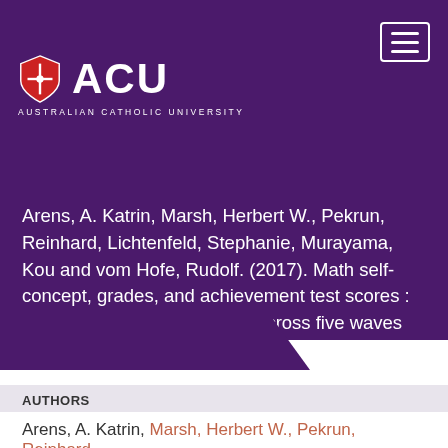[Figure (logo): ACU Australian Catholic University logo with shield icon on purple background]
Arens, A. Katrin, Marsh, Herbert W., Pekrun, Reinhard, Lichtenfeld, Stephanie, Murayama, Kou and vom Hofe, Rudolf. (2017). Math self-concept, grades, and achievement test scores : Long-term reciprocal effects across five waves and three achievement tracks. Journal of Educational Psychology. 109(5), pp. 621-634. https://doi.org/10.1037/edu0000163
AUTHORS
Arens, A. Katrin, Marsh, Herbert W., Pekrun, Reinhard,